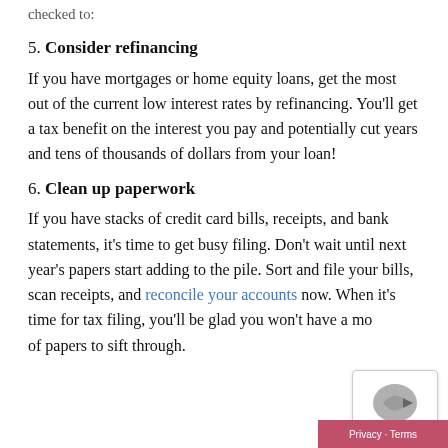checked to:
5. Consider refinancing
If you have mortgages or home equity loans, get the most out of the current low interest rates by refinancing. You'll get a tax benefit on the interest you pay and potentially cut years and tens of thousands of dollars from your loan!
6. Clean up paperwork
If you have stacks of credit card bills, receipts, and bank statements, it's time to get busy filing. Don't wait until next year's papers start adding to the pile. Sort and file your bills, scan receipts, and reconcile your accounts now. When it's time for tax filing, you'll be glad you won't have a mo[untain] of papers to sift through.